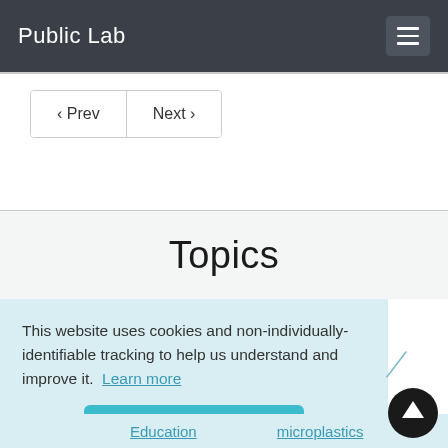Public Lab
‹ Prev   Next ›
Topics
This website uses cookies and non-individually-identifiable tracking to help us understand and improve it. Learn more
Got it!
Education
microplastics